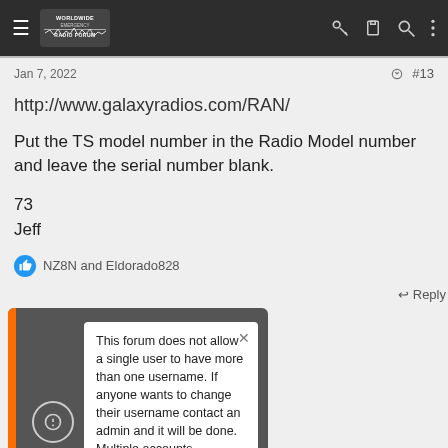Worldwide Radio Forum — navigation bar
Jan 7, 2022
#13
http://www.galaxyradios.com/RAN/
Put the TS model number in the Radio Model number and leave the serial number blank.
73
Jeff
NZ8N and Eldorado828
Reply
This forum does not allow a single user to have more than one username. If anyone wants to change their username contact an admin and it will be done. Multiple accounts belonging to the same member will be deleted without warning.
Jan 11, 2022  #14